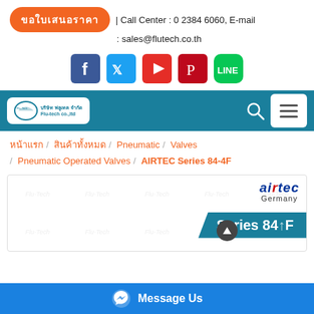ขอใบเสนอราคา | Call Center : 0 2384 6060, E-mail : sales@flutech.co.th
[Figure (infographic): Social media icons: Facebook, Twitter, YouTube, Pinterest, LINE]
[Figure (logo): Flu-tech co.,ltd navigation bar with search and menu icons]
หน้าแรก / สินค้าทั้งหมด / Pneumatic / Valves / Pneumatic Operated Valves / AIRTEC Series 84-4F
[Figure (photo): AIRTEC Germany Series 84-4F product image with Flu-tech watermarks]
Message Us